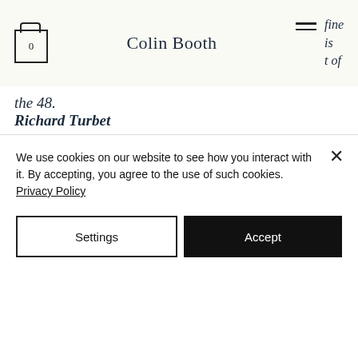Colin Booth
the 48.
Richard Turbet
The instrument, strung in brass, has a beautiful singing tone and gives great clarity to the part-writing. The whole experience of listening to two CDs straight through was a real pleasure. I have no hesitation in saying that this is the most congenial playing I have heard, of this remarkable set of pieces.
We use cookies on our website to see how you interact with it. By accepting, you agree to the use of such cookies. Privacy Policy